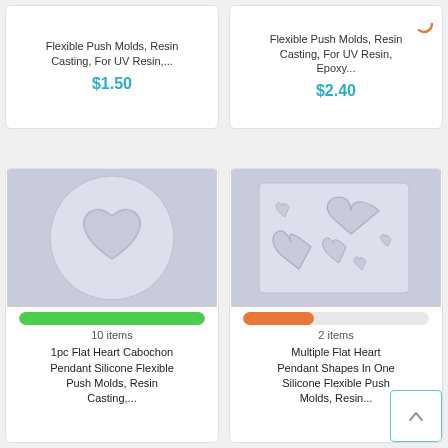[Figure (screenshot): Product card top-left: Flexible Push Molds, Resin Casting, For UV Resin,... priced at $1.50]
Flexible Push Molds, Resin Casting, For UV Resin,...
$1.50
[Figure (screenshot): Product card top-right: Flexible Push Molds, Resin Casting, For UV Resin, Epoxy... priced at $2.40 with orange loading arc]
Flexible Push Molds, Resin Casting, For UV Resin, Epoxy...
$2.40
[Figure (photo): Round silicone mold with single heart shape cutout, white/light blue color]
10 items
1pc Flat Heart Cabochon Pendant Silicone Flexible Push Molds, Resin Casting,...
[Figure (photo): Square silicone mold with multiple heart shapes of various sizes, white color]
2 items
Multiple Flat Heart Pendant Shapes In One Silicone Flexible Push Molds, Resin...